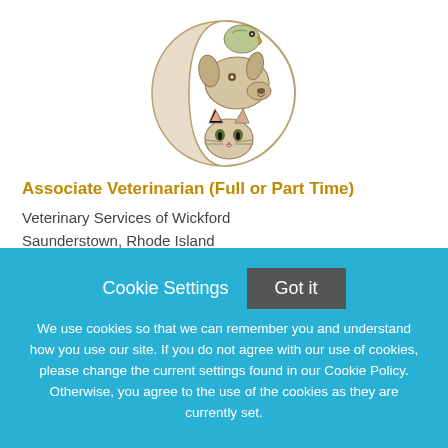[Figure (logo): Circular crescent moon shape with illustrated animals inside: a parrot on top, a dog in the middle, and a cat at the bottom — veterinary clinic logo]
Associate Veterinarian (Full or Part Time)
Veterinary Services of Wickford
Saunderstown, Rhode Island
Cookie Settings  Got it
We use cookies so that we can remember you and understand how you use our site. If you do not agree with our use of cookies, please change the current settings found in our Cookie Policy. Otherwise, you agree to the use of the cookies as they are currently set.